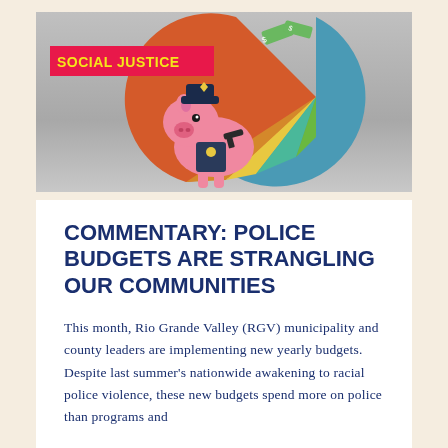[Figure (illustration): Illustration of a police officer pig holding a gun standing in front of a colorful pie chart, on a gray gradient background. A bright pink-red banner reads 'SOCIAL JUSTICE' in yellow bold text overlaid on the image.]
COMMENTARY: POLICE BUDGETS ARE STRANGLING OUR COMMUNITIES
This month, Rio Grande Valley (RGV) municipality and county leaders are implementing new yearly budgets. Despite last summer's nationwide awakening to racial police violence, these new budgets spend more on police than programs and